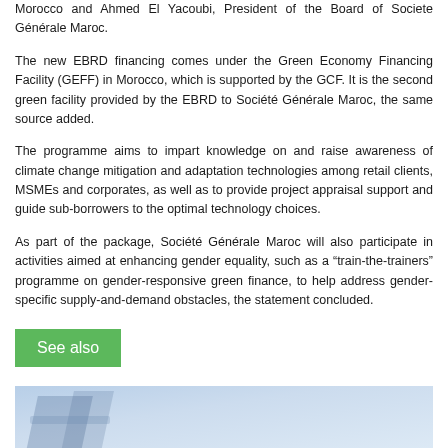Morocco and Ahmed El Yacoubi, President of the Board of Societe Générale Maroc.
The new EBRD financing comes under the Green Economy Financing Facility (GEFF) in Morocco, which is supported by the GCF. It is the second green facility provided by the EBRD to Société Générale Maroc, the same source added.
The programme aims to impart knowledge on and raise awareness of climate change mitigation and adaptation technologies among retail clients, MSMEs and corporates, as well as to provide project appraisal support and guide sub-borrowers to the optimal technology choices.
As part of the package, Société Générale Maroc will also participate in activities aimed at enhancing gender equality, such as a "train-the-trainers" programme on gender-responsive green finance, to help address gender-specific supply-and-demand obstacles, the statement concluded.
See also
[Figure (photo): Partial view of a blue-toned image, possibly showing financial or business related visual content.]